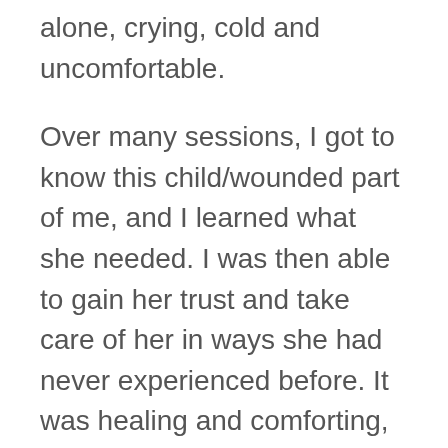alone, crying, cold and uncomfortable.
Over many sessions, I got to know this child/wounded part of me, and I learned what she needed. I was then able to gain her trust and take care of her in ways she had never experienced before. It was healing and comforting, to the point where I eventually felt strong enough to go without a therapist, even though she was amazing.